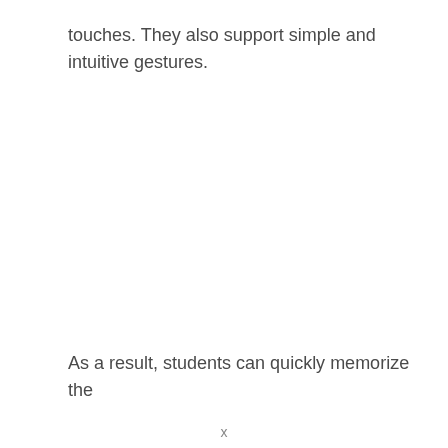touches. They also support simple and intuitive gestures.
As a result, students can quickly memorize the
x